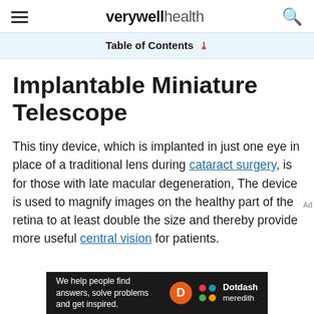verywell health
Table of Contents
Implantable Miniature Telescope
This tiny device, which is implanted in just one eye in place of a traditional lens during cataract surgery, is for those with late macular degeneration, The device is used to magnify images on the healthy part of the retina to at least double the size and thereby provide more useful central vision for patients.
[Figure (other): Dotdash Meredith advertisement banner with text: We help people find answers, solve problems and get inspired.]